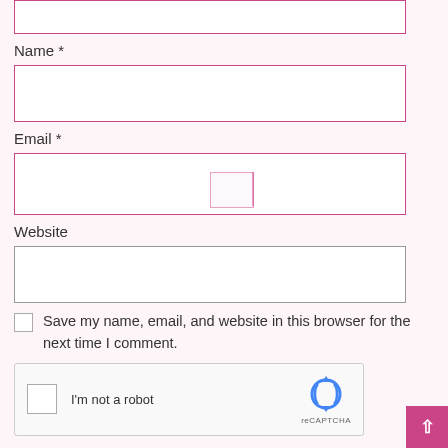[Figure (screenshot): Top portion of a web form input box (cropped at top)]
Name *
[Figure (screenshot): Name input field - empty text box with purple/pink border]
Email *
[Figure (screenshot): Email input field - empty text box with purple/pink border, with a cursor indicator overlay in the center]
Website
[Figure (screenshot): Website input field - empty text box with gray border]
Save my name, email, and website in this browser for the next time I comment.
[Figure (screenshot): reCAPTCHA widget showing checkbox, I'm not a robot text, and reCAPTCHA logo with arrows icon]